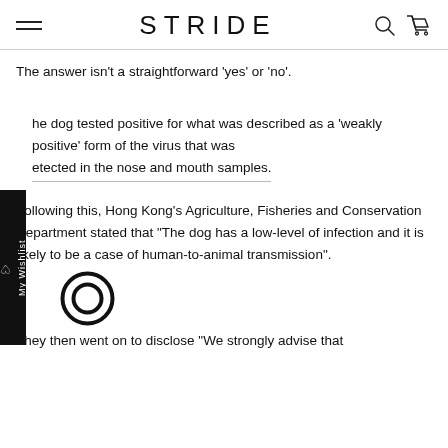STRIDE
The answer isn't a straightforward 'yes' or 'no'.
he dog tested positive for what was described as a 'weakly positive' form of the virus that was detected in the nose and mouth samples.
Following this, Hong Kong's Agriculture, Fisheries and Conservation Department stated that "The dog has a low-level of infection and it is likely to be a case of human-to-animal transmission".
They then went on to disclose "We strongly advise that